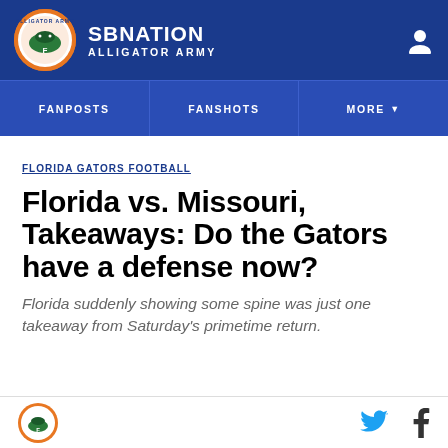SB NATION / ALLIGATOR ARMY
FANPOSTS | FANSHOTS | MORE
FLORIDA GATORS FOOTBALL
Florida vs. Missouri, Takeaways: Do the Gators have a defense now?
Florida suddenly showing some spine was just one takeaway from Saturday's primetime return.